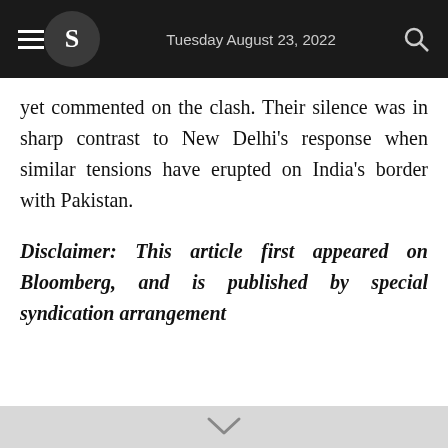Tuesday August 23, 2022
yet commented on the clash. Their silence was in sharp contrast to New Delhi's response when similar tensions have erupted on India's border with Pakistan.
Disclaimer: This article first appeared on Bloomberg, and is published by special syndication arrangement